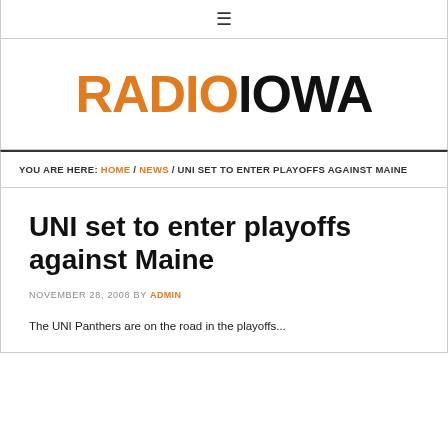☰
[Figure (logo): Radio Iowa logo — 'RADIO' in orange bold, 'IOWA' in black bold]
YOU ARE HERE: HOME / NEWS / UNI SET TO ENTER PLAYOFFS AGAINST MAINE
UNI set to enter playoffs against Maine
NOVEMBER 28, 2008 BY ADMIN
The UNI Panthers are on the road in the playoffs...